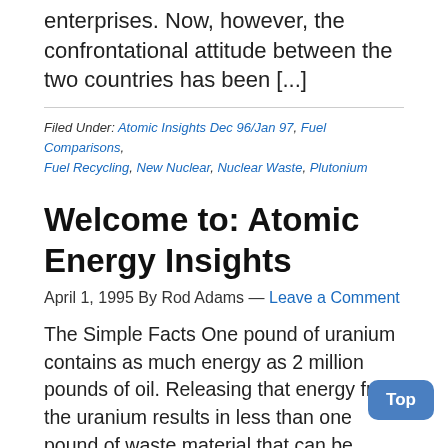enterprises. Now, however, the confrontational attitude between the two countries has been [...]
Filed Under: Atomic Insights Dec 96/Jan 97, Fuel Comparisons, Fuel Recycling, New Nuclear, Nuclear Waste, Plutonium
Welcome to: Atomic Energy Insights
April 1, 1995 By Rod Adams — Leave a Comment
The Simple Facts One pound of uranium contains as much energy as 2 million pounds of oil. Releasing that energy from the uranium results in less than one pound of waste material that can be stored in a simple container for decades with no effect on the environment.